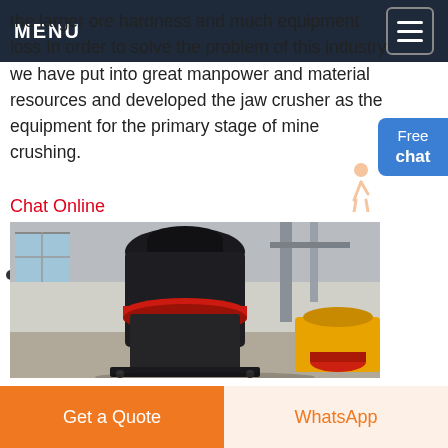MENU
the larger ore hardness and much equipment loss In order to solve the problem of this industry we have put into great manpower and material resources and developed the jaw crusher as the equipment for the primary stage of mine crushing.
Chat Online
[Figure (photo): Industrial cone crusher machine in a factory/warehouse setting. The crusher has a large black body with a red ring and yellow components visible at the base right. Industrial piping and windows visible in background.]
Get a Quote
WhatsApp